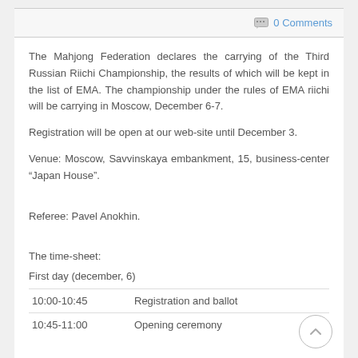0 Comments
The Mahjong Federation declares the carrying of the Third Russian Riichi Championship, the results of which will be kept in the list of EMA. The championship under the rules of EMA riichi will be carrying in Moscow, December 6-7.
Registration will be open at our web-site until December 3.
Venue: Moscow, Savvinskaya embankment, 15, business-center “Japan House”.
Referee: Pavel Anokhin.
The time-sheet:
First day (december, 6)
| Time | Event |
| --- | --- |
| 10:00-10:45 | Registration and ballot |
| 10:45-11:00 | Opening ceremony |